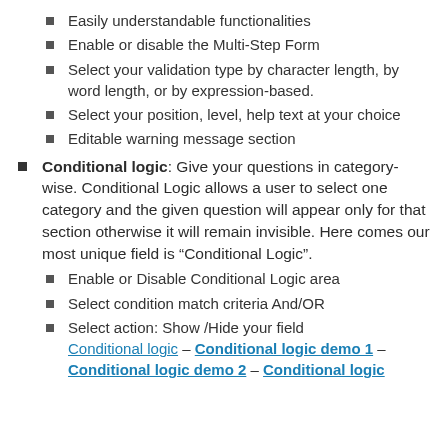Easily understandable functionalities
Enable or disable the Multi-Step Form
Select your validation type by character length, by word length, or by expression-based.
Select your position, level, help text at your choice
Editable warning message section
Conditional logic: Give your questions in category-wise. Conditional Logic allows a user to select one category and the given question will appear only for that section otherwise it will remain invisible. Here comes our most unique field is “Conditional Logic”.
Enable or Disable Conditional Logic area
Select condition match criteria And/OR
Select action: Show /Hide your field Conditional logic – Conditional logic demo 1 – Conditional logic demo 2 – Conditional logic